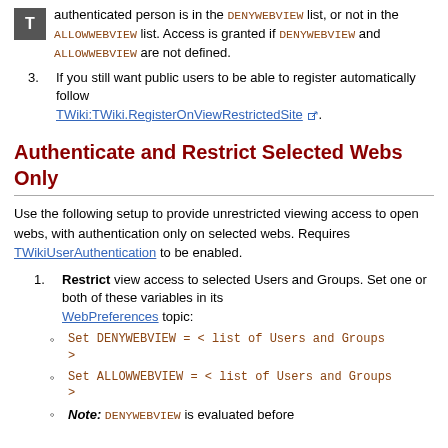authenticated person is in the DENYWEBVIEW list, or not in the ALLOWWEBVIEW list. Access is granted if DENYWEBVIEW and ALLOWWEBVIEW are not defined.
3. If you still want public users to be able to register automatically follow TWiki:TWiki.RegisterOnViewRestrictedSite.
Authenticate and Restrict Selected Webs Only
Use the following setup to provide unrestricted viewing access to open webs, with authentication only on selected webs. Requires TWikiUserAuthentication to be enabled.
1. Restrict view access to selected Users and Groups. Set one or both of these variables in its WebPreferences topic:
Set DENYWEBVIEW = < list of Users and Groups >
Set ALLOWWEBVIEW = < list of Users and Groups >
Note: DENYWEBVIEW is evaluated before